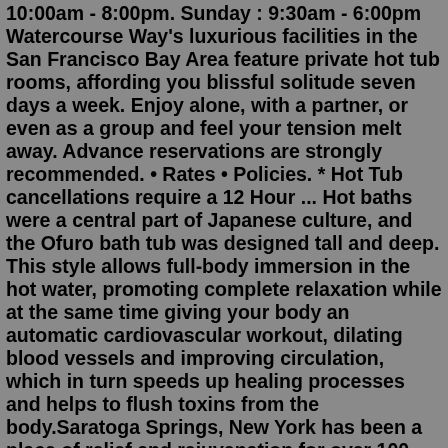10:00am - 8:00pm. Sunday : 9:30am - 6:00pm Watercourse Way's luxurious facilities in the San Francisco Bay Area feature private hot tub rooms, affording you blissful solitude seven days a week. Enjoy alone, with a partner, or even as a group and feel your tension melt away. Advance reservations are strongly recommended. • Rates • Policies. * Hot Tub cancellations require a 12 Hour ... Hot baths were a central part of Japanese culture, and the Ofuro bath tub was designed tall and deep. This style allows full-body immersion in the hot water, promoting complete relaxation while at the same time giving your body an automatic cardiovascular workout, dilating blood vessels and improving circulation, which in turn speeds up healing processes and helps to flush toxins from the body.Saratoga Springs, New York has been a place of relief and rejuvenation for over 100 years. Saratoga Spas continues that tradition today, and allows what was once only for a few people to enjoy now allows anyone to have the ability to place this soaking experience in his or her own home. Though